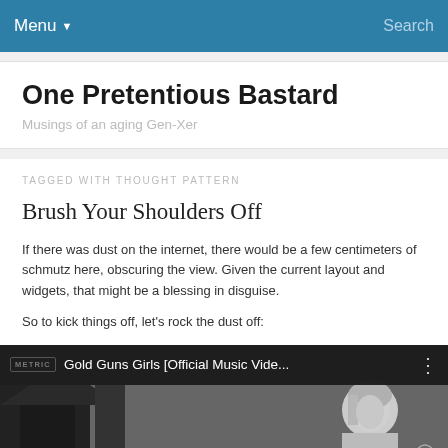Menu ▾   Search
One Pretentious Bastard
Musings of an aging Gen-Xer
TAGGED WITH THOUGHT PATTERN
Brush Your Shoulders Off
If there was dust on the internet, there would be a few centimeters of schmutz here, obscuring the view. Given the current layout and widgets, that might be a blessing in disguise.
So to kick things off, let's rock the dust off:
[Figure (screenshot): YouTube video embed showing 'Gold Guns Girls [Official Music Vide...' with Metric logo and a black and white photo of a woman below]